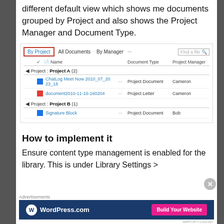different default view which shows me documents grouped by Project and also shows the Project Manager and Document Type.
[Figure (screenshot): SharePoint document library view showing 'By Project' tab selected (highlighted with red border), tabs for All Documents, By Manager and more, a search box, column headers (Name, Document Type, Project Manager), grouped rows: Project A (2) with ChatLog Meet Now 2010_07_20 23_18 (Project Document, Cameron) and document2010-11-16-160204 (Project Letter, Cameron); Project B (1) with Signature Block (Project Document, Bob).]
How to implement it
Ensure content type management is enabled for the library. This is under Library Settings >
[Figure (screenshot): WordPress.com advertisement banner with blue background, WordPress logo, and pink 'Build Your Website' button.]